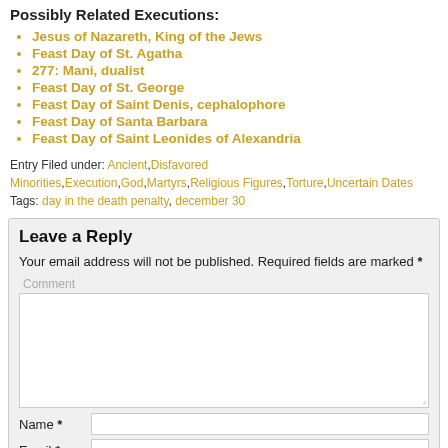Possibly Related Executions:
Jesus of Nazareth, King of the Jews
Feast Day of St. Agatha
277: Mani, dualist
Feast Day of St. George
Feast Day of Saint Denis, cephalophore
Feast Day of Santa Barbara
Feast Day of Saint Leonides of Alexandria
Entry Filed under: Ancient,Disfavored Minorities,Execution,God,Martyrs,Religious Figures,Torture,Uncertain Dates
Tags: day in the death penalty, december 30
Leave a Reply
Your email address will not be published. Required fields are marked *
Comment
Name *
Email *